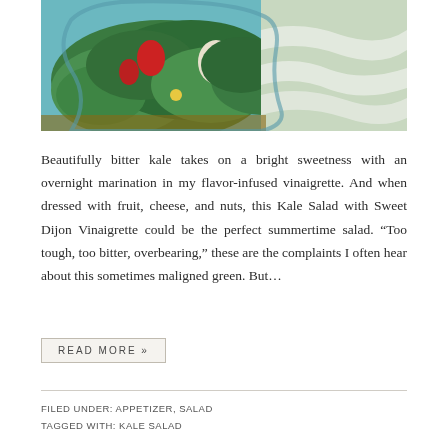[Figure (photo): Overhead photo of a kale salad on a decorative blue plate with strawberries, greens, and other toppings, placed on a green and white patterned surface]
Beautifully bitter kale takes on a bright sweetness with an overnight marination in my flavor-infused vinaigrette. And when dressed with fruit, cheese, and nuts, this Kale Salad with Sweet Dijon Vinaigrette could be the perfect summertime salad. “Too tough, too bitter, overbearing,” these are the complaints I often hear about this sometimes maligned green. But…
READ MORE »
FILED UNDER: APPETIZER, SALAD
TAGGED WITH: KALE SALAD